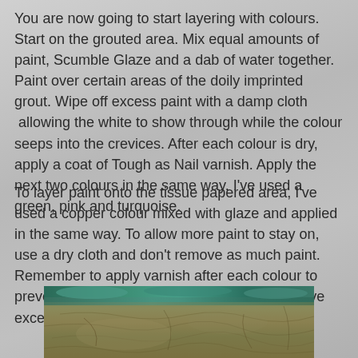You are now going to start layering with colours. Start on the grouted area. Mix equal amounts of paint, Scumble Glaze and a dab of water together. Paint over certain areas of the doily imprinted grout. Wipe off excess paint with a damp cloth  allowing the white to show through while the colour seeps into the crevices. After each colour is dry, apply a coat of Tough as Nail varnish. Apply the next two colours in the same way. I've used a green, pink and turquoise.
To layer paint onto the tissue papered area, I've used a copper colour mixed with glaze and applied in the same way. To allow more paint to stay on, use a dry cloth and don't remove as much paint. Remember to apply varnish after each colour to prevent the colours from lifting when you remove excess paint.
[Figure (photo): Close-up photograph of a textured craft surface showing layered paint with teal/green colours at the top and copper/brown tones below, with visible tissue paper texture and grouted pattern.]